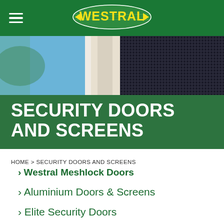WESTRAL
[Figure (photo): Close-up photo of a security screen mesh on a door/window with blue sky and cream-colored door frame visible]
SECURITY DOORS AND SCREENS
HOME > SECURITY DOORS AND SCREENS
› Westral Meshlock Doors
› Aluminium Doors & Screens
› Elite Security Doors
› Triton Security Doors